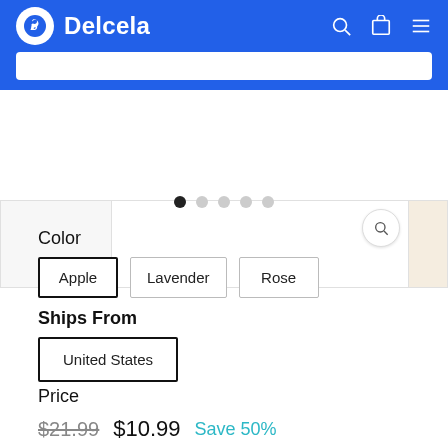Delcela
[Figure (screenshot): Product image carousel with magnify button, showing partial product images and navigation dots]
Color
Apple  Lavender  Rose
Ships From
United States
Price
$21.99  $10.99  Save 50%